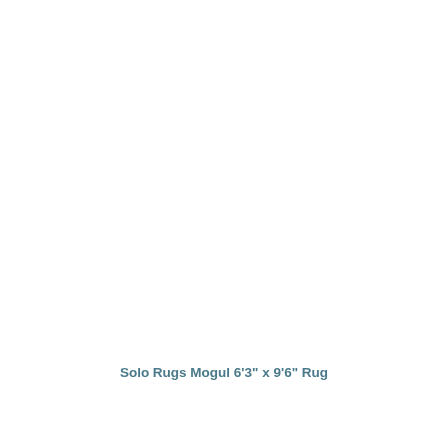Solo Rugs Mogul 6'3" x 9'6" Rug